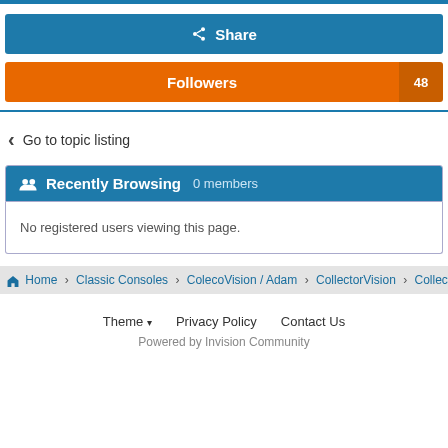Share
Followers  48
< Go to topic listing
Recently Browsing  0 members
No registered users viewing this page.
Home > Classic Consoles > ColecoVision / Adam > CollectorVision > CollectorVi...
Theme ▾  Privacy Policy  Contact Us
Powered by Invision Community